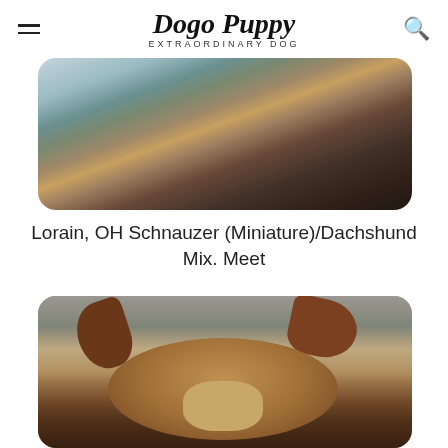Dogo Puppy EXTRAORDINARY DOG
[Figure (photo): Close-up photo of a dog's fur/back with a person in a grey shirt, showing brindle/dark fur tones]
Lorain, OH Schnauzer (Miniature)/Dachshund Mix. Meet
[Figure (photo): Close-up photo of a small dog face with large ears, brown and black coloring, looking up at the camera, on a pavement background]